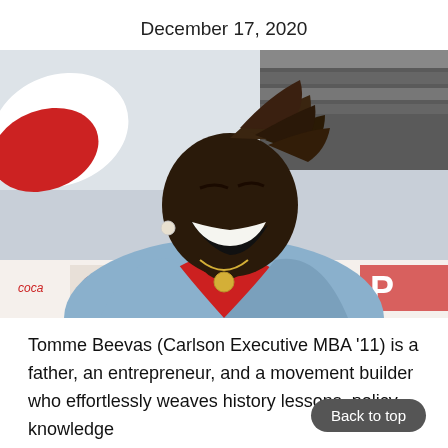December 17, 2020
[Figure (photo): A man with dreadlocks wearing a blue blazer over a red t-shirt laughing joyfully outdoors, with a red and white flag and signage in the background.]
Tomme Beevas (Carlson Executive MBA '11) is a father, an entrepreneur, and a movement builder who effortlessly weaves history lessons, policy knowledge